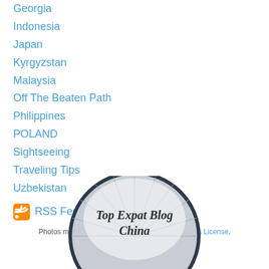Georgia
Indonesia
Japan
Kyrgyzstan
Malaysia
Off The Beaten Path
Philippines
POLAND
Sightseeing
Traveling Tips
Uzbekistan
RSS Feed
Photos made available under a Creative Commons License.
expats blog
[Figure (illustration): Top Expat Blog China badge - circular emblem with text 'Top Expat Blog China' and decorative fan/sunburst pattern in grey and white]